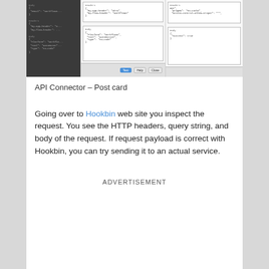[Figure (screenshot): Screenshot of an API Connector interface showing a POST card test with panels: left panel shows request configuration with headers and body JSON, middle panel shows headers with 'my-app-header: Okta' and 'my-flow-header: Workflows' and body with Platform: Workflows, Tool: Automation, Type: no-code, right panel shows response headers with GMT, pragma: no-cache, access-control-allow-origin: *, and body with success: true. Bottom bar has Test, Help, and Close buttons.]
API Connector – Post card
Going over to Hookbin web site you inspect the request. You see the HTTP headers, query string, and body of the request. If request payload is correct with Hookbin, you can try sending it to an actual service.
ADVERTISEMENT